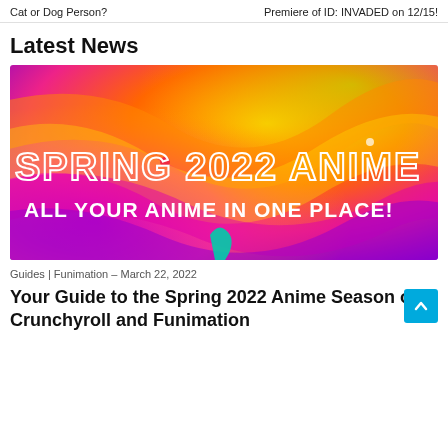Cat or Dog Person? | Premiere of ID: INVADED on 12/15!
Latest News
[Figure (illustration): Colorful abstract swirling shapes in orange, yellow, green, purple hues with overlaid text: 'SPRING 2022 ANIME' in outlined letters and 'ALL YOUR ANIME IN ONE PLACE!' in bold white text]
Guides | Funimation – March 22, 2022
Your Guide to the Spring 2022 Anime Season on Crunchyroll and Funimation